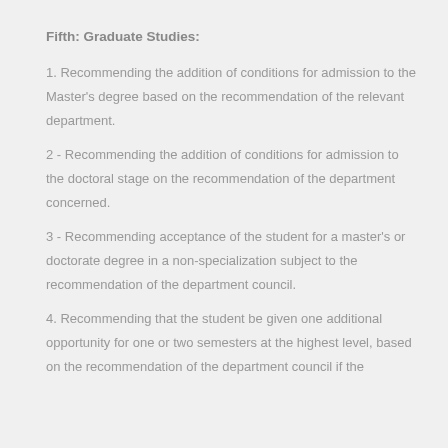Fifth: Graduate Studies:
1. Recommending the addition of conditions for admission to the Master's degree based on the recommendation of the relevant department.
2 - Recommending the addition of conditions for admission to the doctoral stage on the recommendation of the department concerned.
3 - Recommending acceptance of the student for a master's or doctorate degree in a non-specialization subject to the recommendation of the department council.
4. Recommending that the student be given one additional opportunity for one or two semesters at the highest level, based on the recommendation of the department council if the